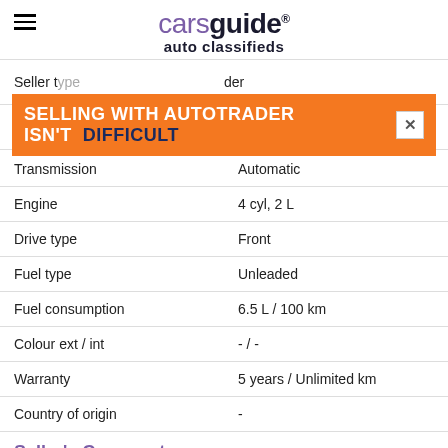carsguide auto classifieds
[Figure (infographic): Orange advertisement banner: SELLING WITH AUTOTRADER ISN'T DIFFICULT with close button]
| Attribute | Value |
| --- | --- |
| Seller type | dealer |
| Body type | seats |
| Transmission | Automatic |
| Engine | 4 cyl, 2 L |
| Drive type | Front |
| Fuel type | Unleaded |
| Fuel consumption | 6.5 L / 100 km |
| Colour ext / int | - / - |
| Warranty | 5 years / Unlimited km |
| Country of origin | - |
Seller's Comments.